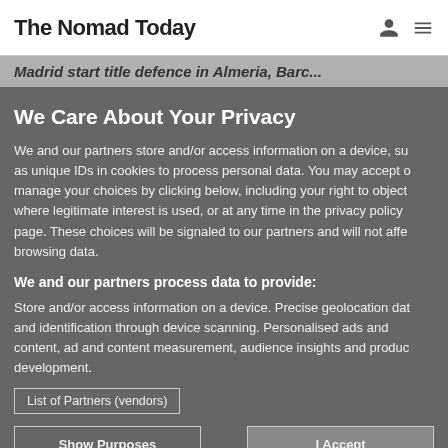The Nomad Today
Madrid start title defence in Almeria, Barc...
We Care About Your Privacy
We and our partners store and/or access information on a device, such as unique IDs in cookies to process personal data. You may accept or manage your choices by clicking below, including your right to object where legitimate interest is used, or at any time in the privacy policy page. These choices will be signaled to our partners and will not affect browsing data.
We and our partners process data to provide:
Store and/or access information on a device. Precise geolocation data and identification through device scanning. Personalised ads and content, ad and content measurement, audience insights and product development.
List of Partners (vendors)
Show Purposes
I Accept